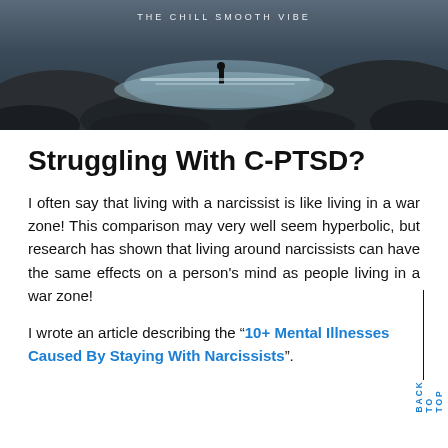[Figure (photo): Hero banner image showing a person standing on rocks by a rushing river/stream in a dramatic landscape. Text overlay reads 'THE CHILL SMOOTH VIBE' at the top.]
Struggling With C-PTSD?
I often say that living with a narcissist is like living in a war zone! This comparison may very well seem hyperbolic, but research has shown that living around narcissists can have the same effects on a person's mind as people living in a war zone!
I wrote an article describing the “10+ Mental Illnesses Caused By Staying With Narcissists”.